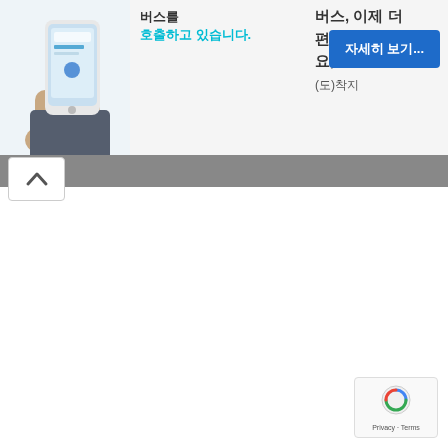[Figure (screenshot): Mobile phone illustration showing app interface with Korean text]
버스를
호출하고 있습니다.
버스, 이제 더
편리하게 이용하세요,
(도)착지
자세히 보기...
[Figure (screenshot): Grey navigation bar with up arrow collapse button]
[Figure (logo): Google reCAPTCHA badge with Privacy and Terms links]